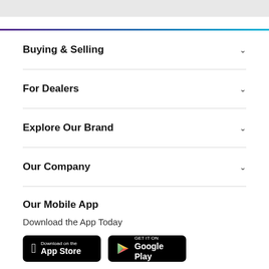Buying & Selling
For Dealers
Explore Our Brand
Our Company
Our Mobile App
Download the App Today
[Figure (screenshot): App Store and Google Play download buttons]